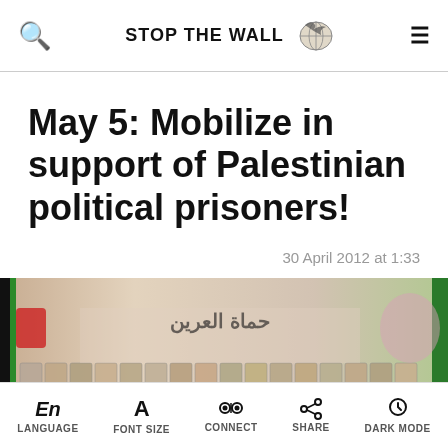STOP THE WALL
May 5: Mobilize in support of Palestinian political prisoners!
30 April 2012 at 1:33
[Figure (photo): Collage banner image showing many faces of Palestinian political prisoners with Arabic text reading حماة العرين]
En LANGUAGE  A FONT SIZE  CONNECT  SHARE  DARK MODE